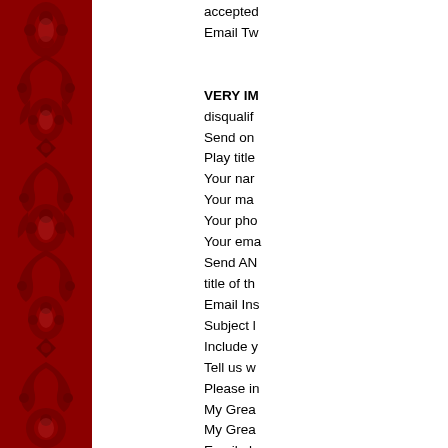[Figure (illustration): Red ornamental damask pattern border on the left side of the page]
accepted Email Tw

VERY IM disqualif Send on Play title Your nar Your ma Your pho Your ema Send AN title of th Email Ins Subject I Include y Tell us w Please in My Grea My Grea Email pla